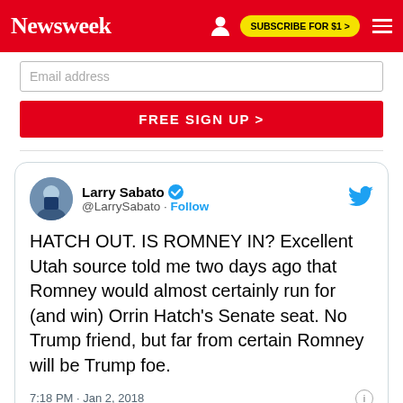Newsweek | SUBSCRIBE FOR $1 >
[Figure (screenshot): Email address input field and FREE SIGN UP button on a Newsweek signup form]
[Figure (screenshot): Embedded tweet from Larry Sabato (@LarrySabato) verified account reading: HATCH OUT. IS ROMNEY IN? Excellent Utah source told me two days ago that Romney would almost certainly run for (and win) Orrin Hatch's Senate seat. No Trump friend, but far from certain Romney will be Trump foe. 7:18 PM · Jan 2, 2018. 225 likes, Reply, Copy link.]